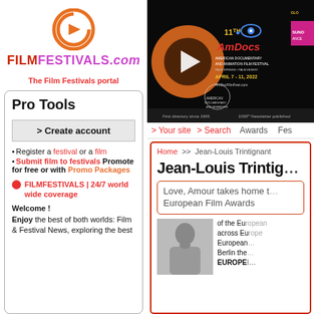[Figure (logo): FilmFestivals.com logo with orange circle play button icon and purple/red text]
The Film Festivals portal
Pro Tools
> Create account
Register a festival or a film
Submit film to festivals Promote for free or with Promo Packages
FILMFESTIVALS | 24/7 world wide coverage
Welcome !
Enjoy the best of both worlds: Film & Festival News, exploring the best
[Figure (screenshot): 11th AmDocs American Documentary and Animation Film Festival banner, April 7-11 2022, Palm Springs Palm Desert, AmDocFilmFest.com. First directory since 1995, 1000th Newsletter published.]
> Your site   > Search    Awards   Fes...
Home >> Jean-Louis Trintignant
Jean-Louis Trintig...
Love, Amour takes home the European Film Awards
of the European... across Europe... European... Berlin the... EUROPEI...